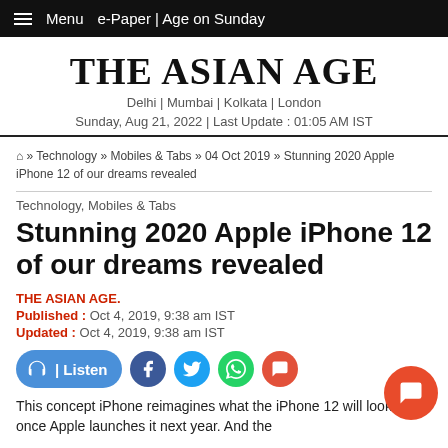☰ Menu  e-Paper | Age on Sunday
The Asian Age
Delhi | Mumbai | Kolkata | London
Sunday, Aug 21, 2022 | Last Update : 01:05 AM IST
⌂ » Technology » Mobiles & Tabs » 04 Oct 2019 » Stunning 2020 Apple iPhone 12 of our dreams revealed
Technology, Mobiles & Tabs
Stunning 2020 Apple iPhone 12 of our dreams revealed
THE ASIAN AGE.
Published : Oct 4, 2019, 9:38 am IST
Updated : Oct 4, 2019, 9:38 am IST
This concept iPhone reimagines what the iPhone 12 will look like once Apple launches it next year. And the